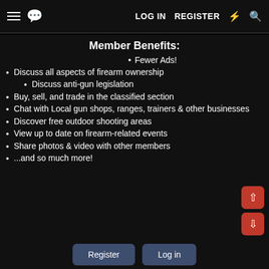≡  [chat icon]   LOG IN   REGISTER   ⚡   🔍
Member Benefits:
Fewer Ads!
Discuss all aspects of firearm ownership
Discuss anti-gun legislation
Buy, sell, and trade in the classified section
Chat with Local gun shops, ranges, trainers & other businesses
Discover free outdoor shooting areas
View up to date on firearm-related events
Share photos & video with other members
...and so much more!